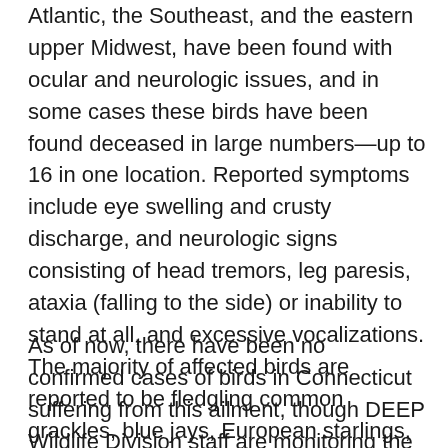Atlantic, the Southeast, and the eastern upper Midwest, have been found with ocular and neurologic issues, and in some cases these birds have been found deceased in large numbers—up to 16 in one location. Reported symptoms include eye swelling and crusty discharge, and neurologic signs consisting of head tremors, leg paresis, ataxia (falling to the side) or inability to stand at all, and excessive vocalizations. The majority of affected birds are reported to be fledgling common grackles, blue jays, European starlings, and American robins, though other species of songbirds have been reported as well.
As of now, there have been no confirmed cases of birds in Connecticut suffering from this ailment, though DEEP Wildlife Division staff are monitoring the situation and are in communication with neighboring states, and federal and conservation partners. Thus far,